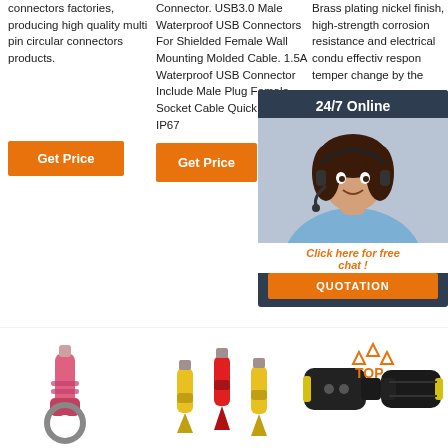connectors factories, producing high quality multi pin circular connectors products.
Get Price
Connector. USB3.0 Male Waterproof USB Connectors For Shielded Female Wall Mounting Molded Cable. 1.5A Waterproof USB Connector Include Male Plug Female Socket Cable Quick Bayonet IP67
Get Price
Brass plating nickel finish, high-strength corrosion resistance and electrical conductivity, effectively responds to temperature changes by the
[Figure (infographic): 24/7 Online chat support widget with female agent wearing headset, dark blue background, orange QUOTATION button and 'Click here for free chat!' tagline]
Get
[Figure (photo): Row of electrical connector product photos: pink/red ring terminal, yellow and red spade/flag terminals, and black weatherproof 2-pin automotive connector. Orange TOP badge visible in top right of right section.]